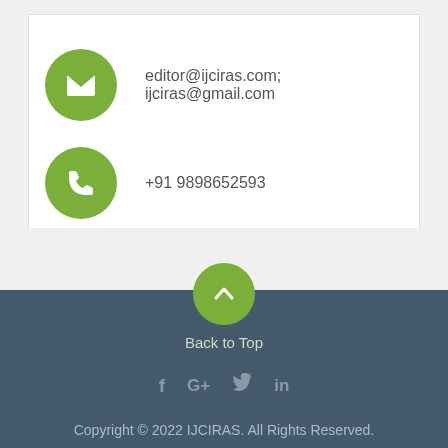editor@ijciras.com; ijciras@gmail.com
+91 9898652593
Back to Top
[Figure (infographic): Social media icons: Facebook, Google+, Twitter, LinkedIn]
Copyright © 2022 IJCIRAS. All Rights Reserved.